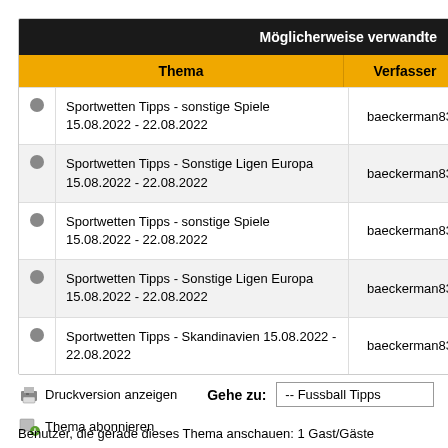| Thema | Verfasser | A |
| --- | --- | --- |
| Sportwetten Tipps - sonstige Spiele 15.08.2022 - 22.08.2022 | baeckerman83 |  |
| Sportwetten Tipps - Sonstige Ligen Europa 15.08.2022 - 22.08.2022 | baeckerman83 |  |
| Sportwetten Tipps - sonstige Spiele 15.08.2022 - 22.08.2022 | baeckerman83 |  |
| Sportwetten Tipps - Sonstige Ligen Europa 15.08.2022 - 22.08.2022 | baeckerman83 |  |
| Sportwetten Tipps - Skandinavien 15.08.2022 - 22.08.2022 | baeckerman83 |  |
Druckversion anzeigen
Gehe zu: -- Fussball Tipps
Thema abonnieren
Benutzer, die gerade dieses Thema anschauen: 1 Gast/Gäste